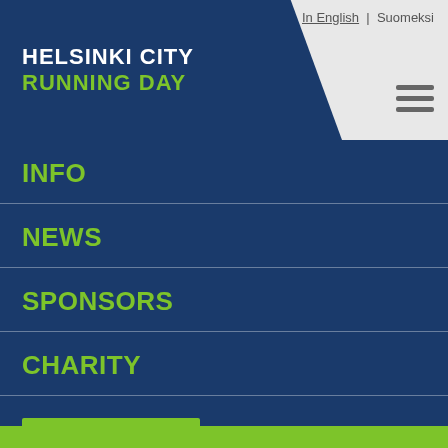Helsinki City Running Day
In English | Suomeksi
INFO
NEWS
SPONSORS
CHARITY
CONTACT US